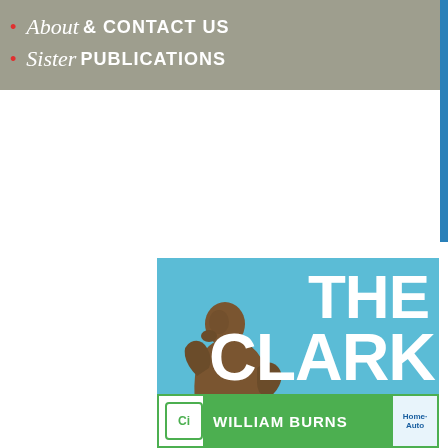About & CONTACT US
Sister PUBLICATIONS
[Figure (illustration): Advertisement for The Clark museum exhibition: Rodin in the United States: Confronting the Modern, June 18–September 18. Blue background with large white bold text 'THE CLARK', Rodin's The Thinker sculpture on the left.]
[Figure (illustration): Advertisement for William Burns with green banner, CI logo, and Home Auto badge.]